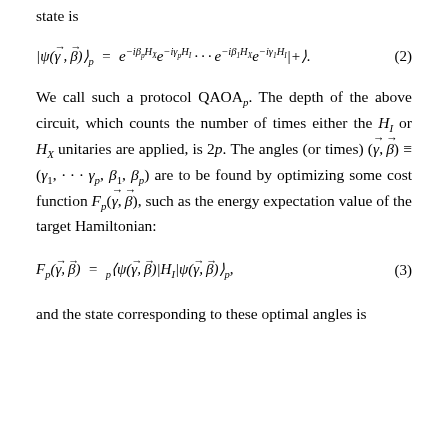state is
We call such a protocol QAOA_p. The depth of the above circuit, which counts the number of times either the H_I or H_X unitaries are applied, is 2p. The angles (or times) (\vec{\gamma}, \vec{\beta}) ≡ (γ₁, ··· γ_p, β₁, β_p) are to be found by optimizing some cost function F_p(\vec{\gamma}, \vec{\beta}), such as the energy expectation value of the target Hamiltonian:
and the state corresponding to these optimal angles is